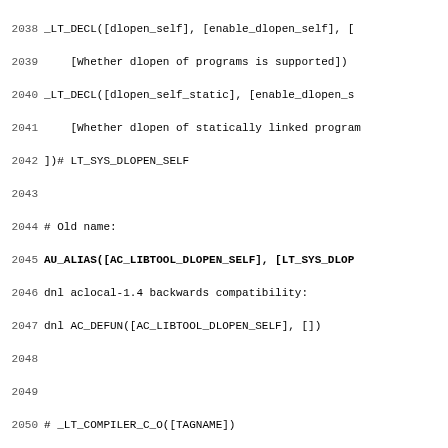2038 _LT_DECL([dlopen_self], [enable_dlopen_self], [
2039     [Whether dlopen of programs is supported])
2040 _LT_DECL([dlopen_self_static], [enable_dlopen_s
2041     [Whether dlopen of statically linked program
2042 ])# LT_SYS_DLOPEN_SELF
2043
2044 # Old name:
2045 AU_ALIAS([AC_LIBTOOL_DLOPEN_SELF], [LT_SYS_DLOP
2046 dnl aclocal-1.4 backwards compatibility:
2047 dnl AC_DEFUN([AC_LIBTOOL_DLOPEN_SELF], [])
2048
2049
2050 # _LT_COMPILER_C_O([TAGNAME])
2051 # ----------------------------
2052 # Check to see if options -c and -o are simulta
2053 # This macro does not hard code the compiler li
2054 m4_defun([_LT_COMPILER_C_O],
2055 [m4_require([_LT_DECL_SED])dnl
2056 m4_require([_LT_FILEUTILS_DEFAULTS])dnl
2057 m4_require([_LT_TAG_COMPILER])dnl
2058 AC_CACHE_CHECK([if $compiler supports -c -o fil
2059   [_LT_TAGVAR(lt_cv_prog_compiler_c_o, $1)],
2060   [_LT_TAGVAR(lt_cv_prog_compiler_c_o, $1)=no
2061     $RM -r conftest 2>/dev/null
2062     mkdir conftest
2063     cd conftest
2064     mkdir out
2065     echo "$lt_simple_compile_test_code" > confte
2066
2067     lt compiler flag="-o out/conftest2.$ac_objex